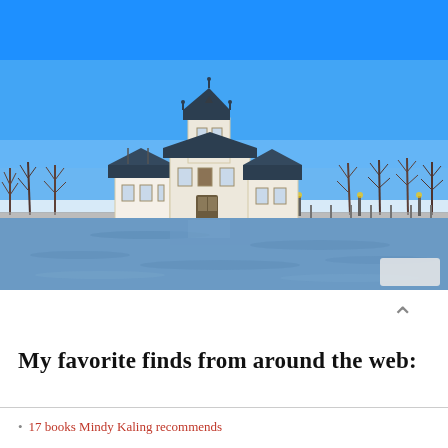[Figure (photo): Photograph of a historic multi-story stone building or boathouse situated on the edge of a calm lake or reservoir, under a vivid clear blue sky. Bare winter trees are visible in the background behind the structure. The building has a dark pitched roof with a central tower and multiple dormers. The water in the foreground reflects the blue sky.]
My favorite finds from around the web:
17 books Mindy Kaling recommends